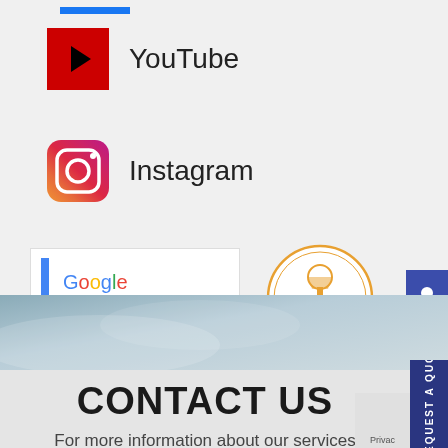[Figure (logo): Blue horizontal bar at top (partial Facebook or social icon)]
[Figure (logo): YouTube logo icon (red square with play button) with text 'YouTube']
[Figure (logo): Instagram logo icon with text 'Instagram']
[Figure (logo): Google Partner badge - white rectangle with blue vertical bar, Google Partner text]
[Figure (logo): Thumbtack Professional since 2011 circular badge in orange]
[Figure (logo): Accessibility icon button on right side (blue background, wheelchair symbol)]
[Figure (infographic): Blurred light blue/grey decorative banner image]
CONTACT US
For more information about our services
REQUEST A QUOT
Privacy